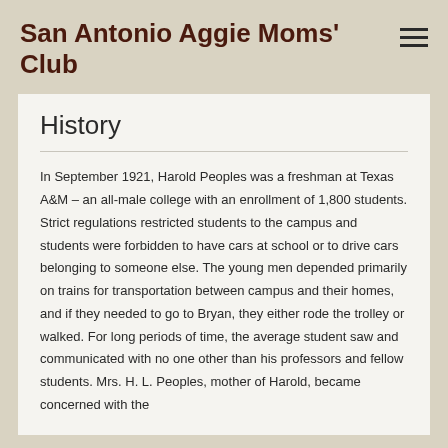San Antonio Aggie Moms' Club
History
In September 1921, Harold Peoples was a freshman at Texas A&M – an all-male college with an enrollment of 1,800 students. Strict regulations restricted students to the campus and students were forbidden to have cars at school or to drive cars belonging to someone else. The young men depended primarily on trains for transportation between campus and their homes, and if they needed to go to Bryan, they either rode the trolley or walked. For long periods of time, the average student saw and communicated with no one other than his professors and fellow students. Mrs. H. L. Peoples, mother of Harold, became concerned with the